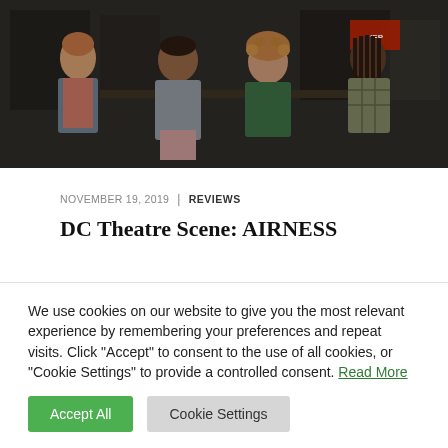[Figure (photo): Theatre production photo showing four actors on stage in a store/shop setting. From left: a person in a denim vest with short hair, a person in a gray shirt (center), a person with curly hair in a green jacket, and a person with braids in a plaid shirt on the far right.]
NOVEMBER 19, 2019  |  REVIEWS
DC Theatre Scene: AIRNESS
We use cookies on our website to give you the most relevant experience by remembering your preferences and repeat visits. Click "Accept" to consent to the use of all cookies, or "Cookie Settings" to provide a controlled consent. Read More